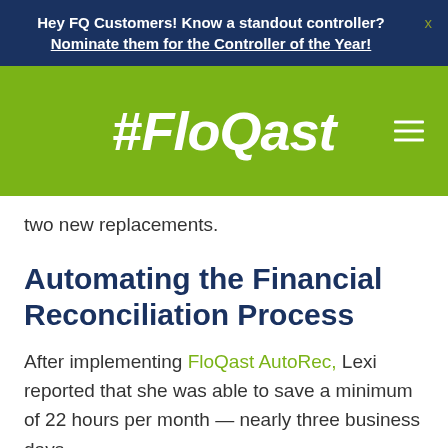Hey FQ Customers! Know a standout controller? Nominate them for the Controller of the Year!
[Figure (logo): FloQast logo on green background with hamburger menu icon]
two new replacements.
Automating the Financial Reconciliation Process
After implementing FloQast AutoRec, Lexi reported that she was able to save a minimum of 22 hours per month — nearly three business days.